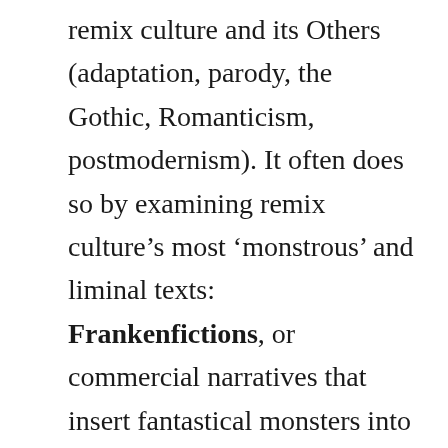remix culture and its Others (adaptation, parody, the Gothic, Romanticism, postmodernism). It often does so by examining remix culture's most 'monstrous' and liminal texts: Frankenfictions, or commercial narratives that insert fantastical monsters into classic literature and popular historical contexts. In this definition, Mary Shelley's 1818 novel Frankenstein serves as a touchstone.